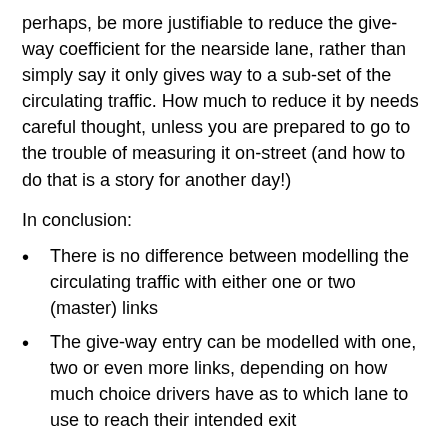perhaps, be more justifiable to reduce the give-way coefficient for the nearside lane, rather than simply say it only gives way to a sub-set of the circulating traffic. How much to reduce it by needs careful thought, unless you are prepared to go to the trouble of measuring it on-street (and how to do that is a story for another day!)
In conclusion:
There is no difference between modelling the circulating traffic with either one or two (master) links
The give-way entry can be modelled with one, two or even more links, depending on how much choice drivers have as to which lane to use to reach their intended exit
There is little research as yet about whether any particular entry stream gives way to some or all of the